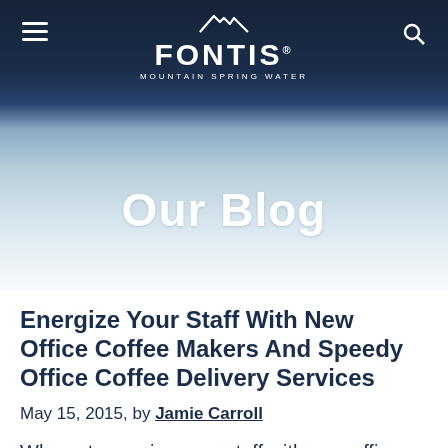FONTIS MOUNTAIN SPRING WATER
Our Blog
Energize Your Staff With New Office Coffee Makers And Speedy Office Coffee Delivery Services
May 15, 2015, by Jamie Carroll
Why not energize your staff with new office